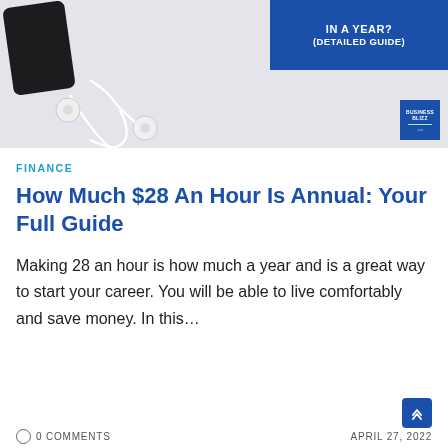[Figure (photo): Hero image showing earbuds and phone on light background with a blue box overlay containing text 'IN A YEAR? (DETAILED GUIDE)' and a business blitz logo badge in the bottom right corner]
FINANCE
How Much $28 An Hour Is Annual: Your Full Guide
Making 28 an hour is how much a year and is a great way to start your career. You will be able to live comfortably and save money. In this…
0 COMMENTS   APRIL 27, 2022